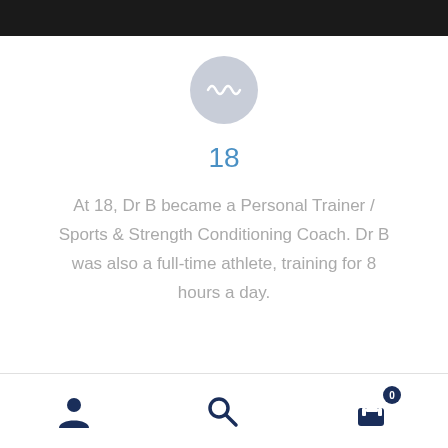[Figure (illustration): Gray circular icon with baseball/sports ball design]
18
At 18, Dr B became a Personal Trainer / Sports & Strength Conditioning Coach. Dr B was also a full-time athlete, training for 8 hours a day.
[Figure (illustration): Partial gym/barbell icon in light gray/blue at the bottom of the content area]
Navigation bar with user, search, and cart (0) icons